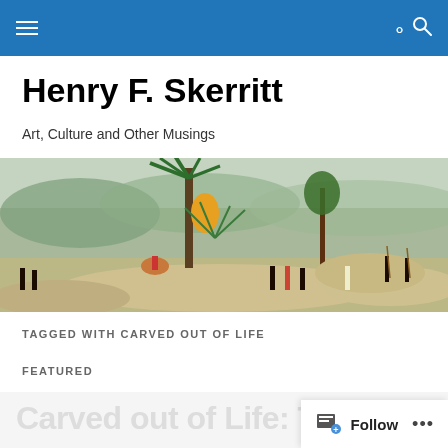Navigation bar with menu and search icons
Henry F. Skerritt
Art, Culture and Other Musings
[Figure (illustration): Horizontal banner painting showing an Australian landscape scene with Aboriginal figures, a rider on horseback, palm trees, eucalyptus trees, rocky terrain, and rolling hills in the background.]
TAGGED WITH CARVED OUT OF LIFE
FEATURED
Carved out of Life: The R...
Follow ...